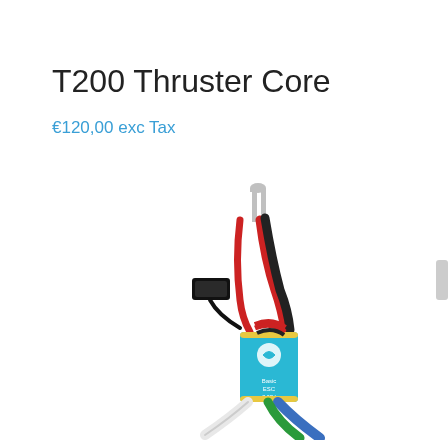T200 Thruster Core
€120,00 exc Tax
[Figure (photo): Photo of a T200 Thruster Core showing a small blue ESC controller module with labeled 'Basic ESC', with multiple colored wires (red, black, white, blue, green) and a black signal connector plug attached.]